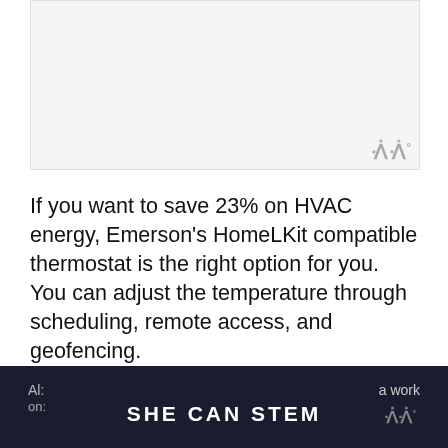[Figure (photo): Light gray rectangular image placeholder area representing a product photo]
If you want to save 23% on HVAC energy, Emerson's HomeLKit compatible thermostat is the right option for you. You can adjust the temperature through scheduling, remote access, and geofencing.
You don't need to worry about the installation as its step-by-step app guide is easy to follow.
SHE CAN STEM